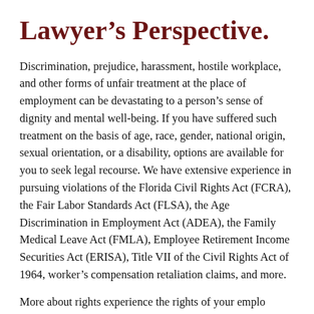Lawyer's Perspective.
Discrimination, prejudice, harassment, hostile workplace, and other forms of unfair treatment at the place of employment can be devastating to a person's sense of dignity and mental well-being. If you have suffered such treatment on the basis of age, race, gender, national origin, sexual orientation, or a disability, options are available for you to seek legal recourse. We have extensive experience in pursuing violations of the Florida Civil Rights Act (FCRA), the Fair Labor Standards Act (FLSA), the Age Discrimination in Employment Act (ADEA), the Family Medical Leave Act (FMLA), Employee Retirement Income Securities Act (ERISA), Title VII of the Civil Rights Act of 1964, worker's compensation retaliation claims, and more.
More about rights experience the rights of your employer...